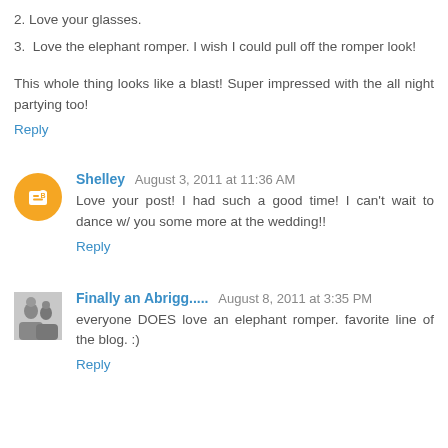2. Love your glasses.
3.  Love the elephant romper. I wish I could pull off the romper look!
This whole thing looks like a blast! Super impressed with the all night partying too!
Reply
Shelley  August 3, 2011 at 11:36 AM
Love your post! I had such a good time! I can't wait to dance w/ you some more at the wedding!!
Reply
Finally an Abrigg.....  August 8, 2011 at 3:35 PM
everyone DOES love an elephant romper. favorite line of the blog. :)
Reply